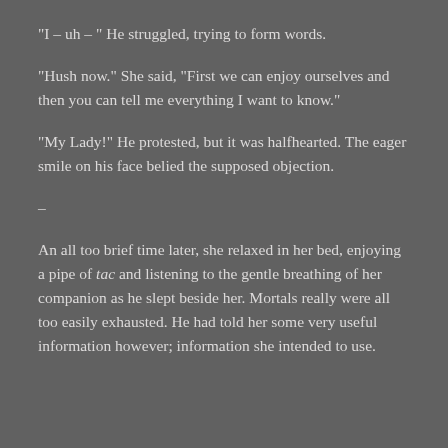“I – uh – “ He struggled, trying to form words.
“Hush now.”  She said, “First we can enjoy ourselves and then you can tell me everything I want to know.”
“My Lady!”  He protested, but it was halfhearted.  The eager smile on his face belied the supposed objection.
–
An all too brief time later, she relaxed in her bed, enjoying a pipe of tac and listening to the gentle breathing of her companion as he slept beside her. Mortals really were all too easily exhausted.  He had told her some very useful information however; information she intended to use.